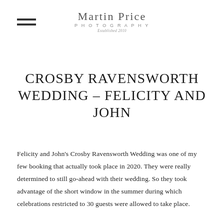Martin Price Photography — Established 2010
CROSBY RAVENSWORTH WEDDING – FELICITY AND JOHN
Felicity and John's Crosby Ravensworth Wedding was one of my few booking that actually took place in 2020. They were really determined to still go-ahead with their wedding. So they took advantage of the short window in the summer during which celebrations restricted to 30 guests were allowed to take place.